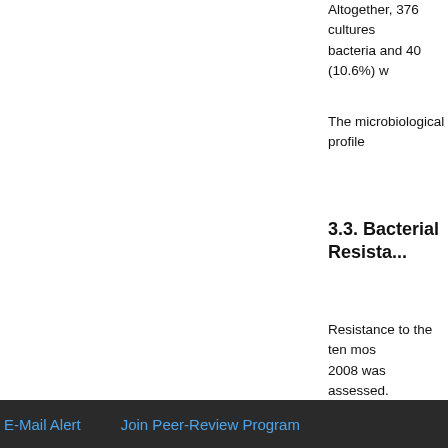Altogether, 376 cultures grew bacteria and 40 (10.6%) w...
The microbiological profile...
3.3. Bacterial Resista...
Resistance to the ten most... 2008 was assessed.
[Figure (table-as-image): Thumbnail of a table showing bacterial species with counts. Includes rows for Gram-negative bacteria types such as Pseudomonas aeruginosa, Acinetobacter baumannii, Klebsiella pneumoniae, Escherichia coli, Enterobacter cloacae, Gram-positive cocci (MRSA), Staphylococcus epidermidis, Staphylococcus aureus. Also includes 'Table' label in bold.]
Top
ABSTRACT
KEYWORDS
INTRODUCTION
MATERIALS AND METHODS
RESULTS
E-Mail Alert    Join Peer-Review Program